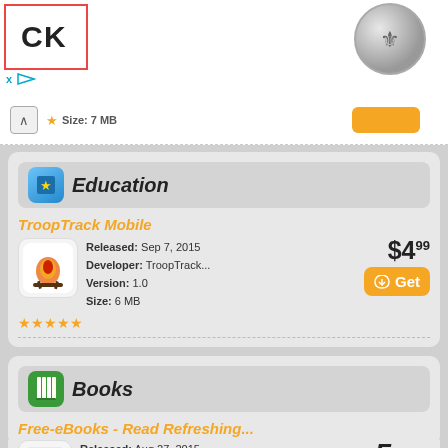[Figure (screenshot): App store listing page showing Education and Books categories with TroopTrack Mobile and Free-eBooks apps]
Education
TroopTrack Mobile
Released: Sep 7, 2015
Developer: TroopTrack...
Version: 1.0
Size: 6 MB
Price: $4.99
Books
Free-eBooks - Read Refreshing...
Released: Aug 27, 2015
Developer: Paradise...
Version: 1.0.14
Size: 30 MB
Price: Free